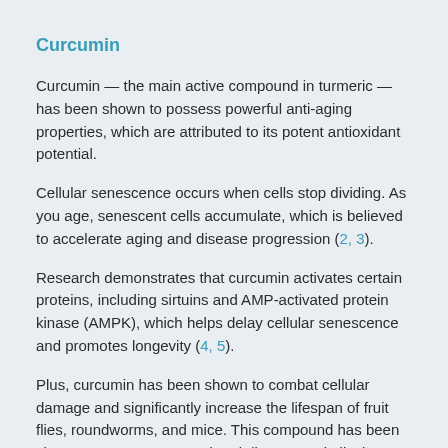Curcumin
Curcumin — the main active compound in turmeric — has been shown to possess powerful anti-aging properties, which are attributed to its potent antioxidant potential.
Cellular senescence occurs when cells stop dividing. As you age, senescent cells accumulate, which is believed to accelerate aging and disease progression (2, 3).
Research demonstrates that curcumin activates certain proteins, including sirtuins and AMP-activated protein kinase (AMPK), which helps delay cellular senescence and promotes longevity (4, 5).
Plus, curcumin has been shown to combat cellular damage and significantly increase the lifespan of fruit flies, roundworms, and mice. This compound has been shown to postpone age-related disease and alleviate age-related symptoms as well (6, 7).